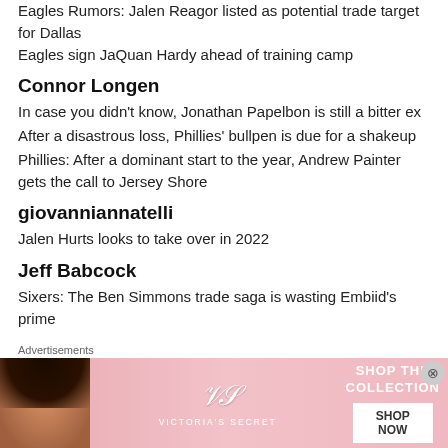Eagles Rumors: Jalen Reagor listed as potential trade target for Dallas
Eagles sign JaQuan Hardy ahead of training camp
Connor Longen
In case you didn't know, Jonathan Papelbon is still a bitter ex
After a disastrous loss, Phillies' bullpen is due for a shakeup
Phillies: After a dominant start to the year, Andrew Painter gets the call to Jersey Shore
giovanniannatelli
Jalen Hurts looks to take over in 2022
Jeff Babcock
Sixers: The Ben Simmons trade saga is wasting Embiid's prime
Advertisements
[Figure (photo): Victoria's Secret advertisement banner with a woman's face on the left, VS logo in the center, and 'SHOP THE COLLECTION / SHOP NOW' on the right, pink background]